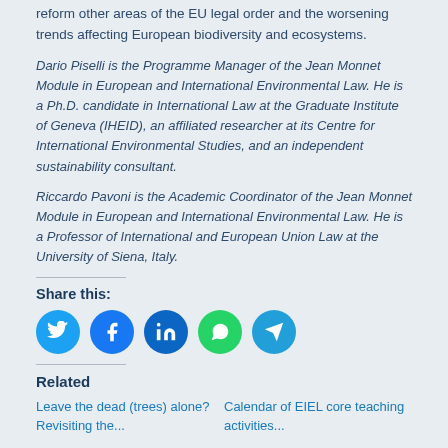reform other areas of the EU legal order and the worsening trends affecting European biodiversity and ecosystems.
Dario Piselli is the Programme Manager of the Jean Monnet Module in European and International Environmental Law. He is a Ph.D. candidate in International Law at the Graduate Institute of Geneva (IHEID), an affiliated researcher at its Centre for International Environmental Studies, and an independent sustainability consultant.
Riccardo Pavoni is the Academic Coordinator of the Jean Monnet Module in European and International Environmental Law. He is a Professor of International and European Union Law at the University of Siena, Italy.
Share this:
[Figure (infographic): Row of five social media share icon buttons: Twitter (blue), Facebook (dark blue), LinkedIn (dark blue), WhatsApp (green), Telegram (blue)]
Related
Leave the dead (trees) alone? Revisiting the...
Calendar of EIEL core teaching activities...